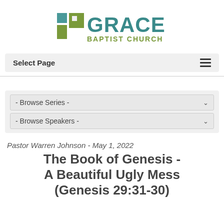[Figure (logo): Grace Baptist Church logo with stylized 'i' and 'G' icons in teal and olive green, followed by 'GRACE' in large teal bold text and 'BAPTIST CHURCH' in olive green text below]
Select Page
- Browse Series -
- Browse Speakers -
Pastor Warren Johnson - May 1, 2022
The Book of Genesis - A Beautiful Ugly Mess (Genesis 29:31-30)